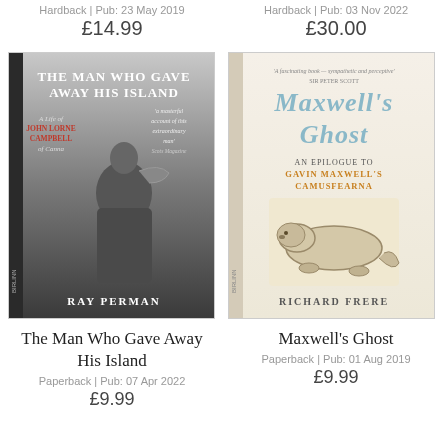Hardback | Pub: 23 May 2019
£14.99
Hardback | Pub: 03 Nov 2022
£30.00
[Figure (photo): Book cover: The Man Who Gave Away His Island by Ray Perman. Black and white photo of a man holding a lobster.]
[Figure (photo): Book cover: Maxwell's Ghost, An Epilogue to Gavin Maxwell's Camusfearna by Richard Frere. Light blue handwritten title text with illustration of an otter.]
The Man Who Gave Away His Island
Paperback | Pub: 07 Apr 2022
£9.99
Maxwell's Ghost
Paperback | Pub: 01 Aug 2019
£9.99